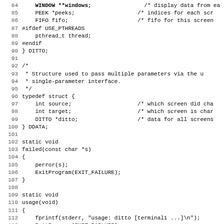[Figure (other): Source code listing in C, lines 84-115, showing struct definitions, typedef, and static void functions including failed() and usage()]